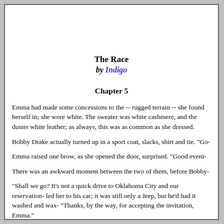The Race
by Indigo
Chapter 5
Emma had made some concessions to the -- rugged terrain -- she found herself in; she wore white. The sweater was white cashmere, and the duster white leather; as always, this was as common as she dressed.
Bobby Drake actually turned up in a sport coat, slacks, shirt and tie. "Go-
Emma raised one brow, as she opened the door, surprised. "Good eveni-
There was an awkward moment between the two of them, before Bobby-
"Shall we go? It's not a quick drive to Oklahoma City and our reservation- led her to his car; it was still only a Jeep, but he'd had it washed and wax- "Thanks, by the way, for accepting the invitation, Emma."
Emma merely regarded Bobby silently, waiting for the other shoe to drop-